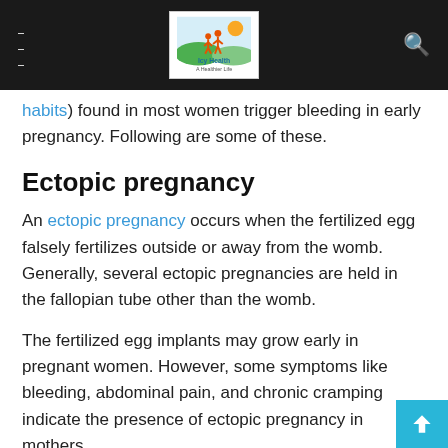Icy Health — A Healthier Life (navigation bar with logo, hamburger menu, search icon)
habits) found in most women trigger bleeding in early pregnancy. Following are some of these.
Ectopic pregnancy
An ectopic pregnancy occurs when the fertilized egg falsely fertilizes outside or away from the womb. Generally, several ectopic pregnancies are held in the fallopian tube other than the womb.
The fertilized egg implants may grow early in pregnant women. However, some symptoms like bleeding, abdominal pain, and chronic cramping indicate the presence of ectopic pregnancy in mothers.
Talking about the occurrence, ectopic pregnancy can occur in